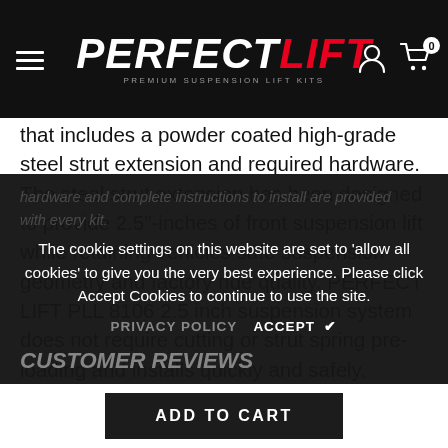PERFECT LIFT — PREMIUM SUSPENSION LIFT KITS
that includes a powder coated high-grade steel strut extension and required hardware. The steel strut extension has been designed to provide 2.5"-inches of front suspension lift while retaining vehicles safe suspension geometry and factory ride quality. PERFECT LIFT PLL 8106 2.5 inch suspension system does not require cutting or strut spring pre-loading and installs quickly and safely. Heavy-duty hardware and complete instructions to install are provided with every kit.
The cookie settings on this website are set to 'allow all cookies' to give you the very best experience. Please click Accept Cookies to continue to use the site.
PRIVACY POLICY   ACCEPT ✔
CUSTOMER REVIEWS
ADD TO CART